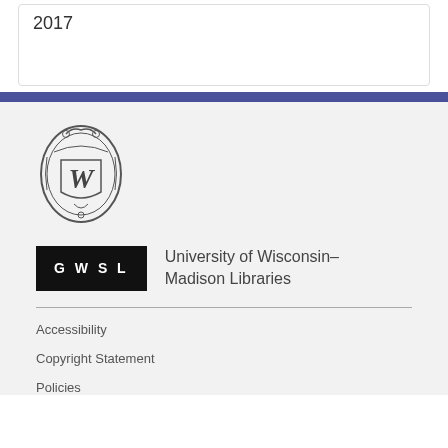2017
[Figure (logo): University of Wisconsin crest/seal with ornate border and W monogram]
[Figure (logo): GWSL black badge logo next to University of Wisconsin-Madison Libraries text]
University of Wisconsin–Madison Libraries
Accessibility
Copyright Statement
Policies